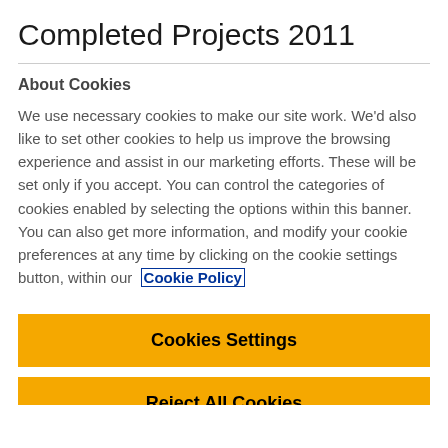Completed Projects 2011
About Cookies
We use necessary cookies to make our site work. We'd also like to set other cookies to help us improve the browsing experience and assist in our marketing efforts. These will be set only if you accept. You can control the categories of cookies enabled by selecting the options within this banner. You can also get more information, and modify your cookie preferences at any time by clicking on the cookie settings button, within our Cookie Policy
Cookies Settings
Reject All Cookies